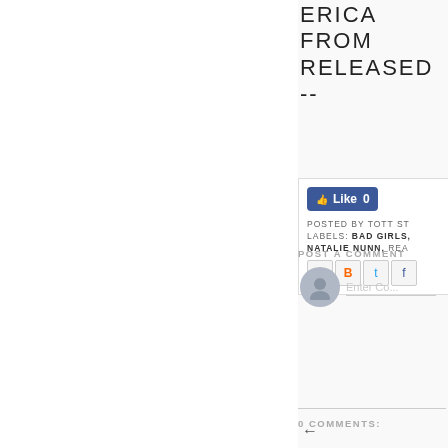ERICA FROM RELEASED --
[Figure (screenshot): Facebook Like button showing 'Like 0' in blue]
POSTED BY TOTT ST
LABELS: BAD GIRLS, NATALIE NUNN, REA
[Figure (screenshot): Share icons: Email (M), Blogger (B), Twitter (t), Facebook (f)]
0 COMMENTS:
POST A COMMENT
[Figure (screenshot): Comment area with user avatar and 'Enter Co...' placeholder input]